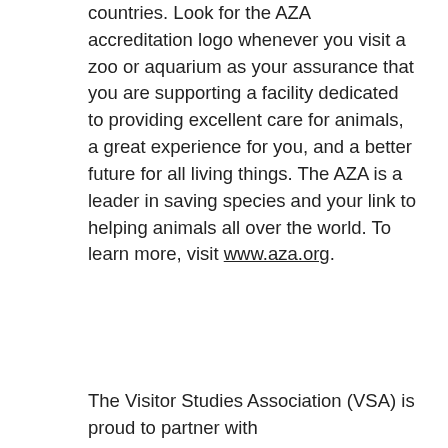countries. Look for the AZA accreditation logo whenever you visit a zoo or aquarium as your assurance that you are supporting a facility dedicated to providing excellent care for animals, a great experience for you, and a better future for all living things. The AZA is a leader in saving species and your link to helping animals all over the world. To learn more, visit www.aza.org.
The Visitor Studies Association (VSA) is proud to partner with